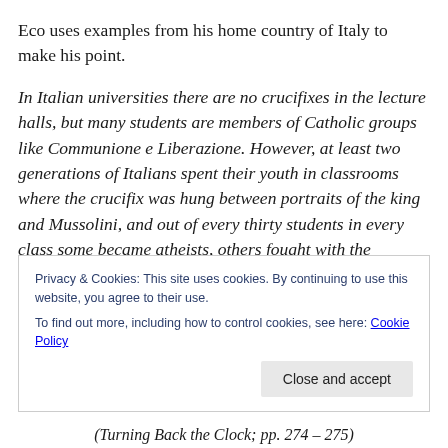Eco uses examples from his home country of Italy to make his point.
In Italian universities there are no crucifixes in the lecture halls, but many students are members of Catholic groups like Communione e Liberazione. However, at least two generations of Italians spent their youth in classrooms where the crucifix was hung between portraits of the king and Mussolini, and out of every thirty students in every class some became atheists, others fought with the resistance, and others again—the majority, I believe—
Privacy & Cookies: This site uses cookies. By continuing to use this website, you agree to their use.
To find out more, including how to control cookies, see here: Cookie Policy
(Turning Back the Clock; pp. 274 – 275)